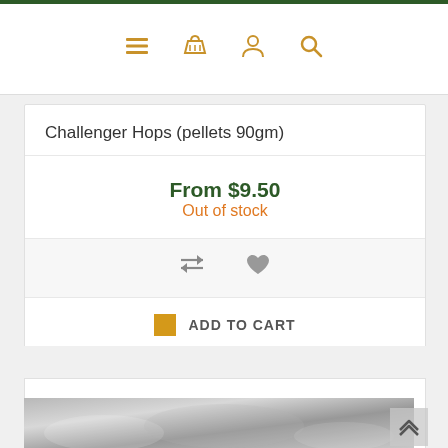Navigation bar with menu, basket, user, and search icons
Challenger Hops (pellets 90gm)
From $9.50
Out of stock
ADD TO CART
[Figure (photo): Silver foil packet of hop pellets with label reading Spalt - Germany, Pellets - AA 3.5%, Net weight 90 gm]